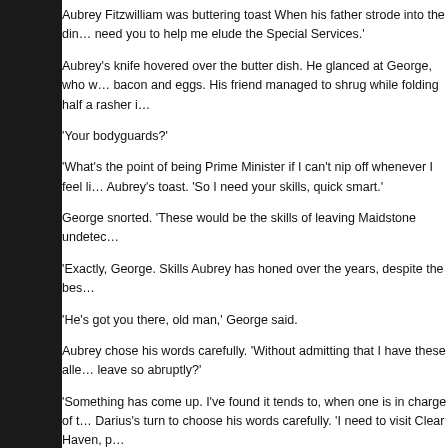Aubrey Fitzwilliam was buttering toast When his father strode into the din… need you to help me elude the Special Services.'
Aubrey's knife hovered over the butter dish. He glanced at George, who w… bacon and eggs. His friend managed to shrug while folding half a rasher i…
'Your bodyguards?'
'What's the point of being Prime Minister if I can't nip off whenever I feel li… Aubrey's toast. 'So I need your skills, quick smart.'
George snorted. 'These would be the skills of leaving Maidstone undetec…
'Exactly, George. Skills Aubrey has honed over the years, despite the bes…
'He's got you there, old man,' George said.
Aubrey chose his words carefully. 'Without admitting that I have these alle… leave so abruptly?'
'Something has come up. I've found it tends to, when one is in charge of t… Darius's turn to choose his words carefully. 'I need to visit Clear Haven, p…
Aubrey's curiosity – already doing a series of warm-up exercises – threw…